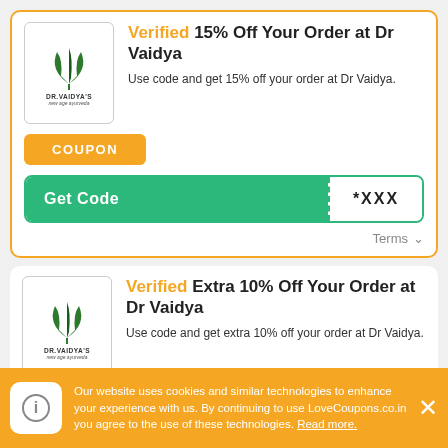[Figure (logo): Dr. Vaidya's new age ayurveda logo with green leaf icon]
Verified 15% Off Your Order at Dr Vaidya
Use code and get 15% off your order at Dr Vaidya.
COUPON
Get Code *XXX
Terms
[Figure (logo): Dr. Vaidya's new age ayurveda logo with green leaf icon]
Verified Extra 10% Off Your Order at Dr Vaidya
Use code and get extra 10% off your order at Dr Vaidya.
Our website uses cookies and similar technologies to enhance your experience with us. By continuing to use LoveCoupons.co.in you agree to the use of these technologies. Read more.